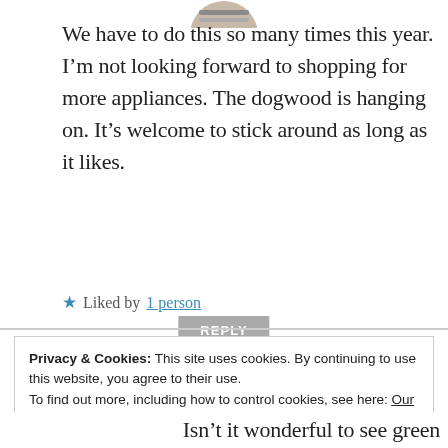[Figure (photo): Partial avatar/profile image at top center, cropped]
We have to do this so many times this year. I’m not looking forward to shopping for more appliances. The dogwood is hanging on. It’s welcome to stick around as long as it likes.
★ Liked by 1 person
REPLY
Privacy & Cookies: This site uses cookies. By continuing to use this website, you agree to their use.
To find out more, including how to control cookies, see here: Our Cookie Policy
Close and accept
Isn’t it wonderful to see green